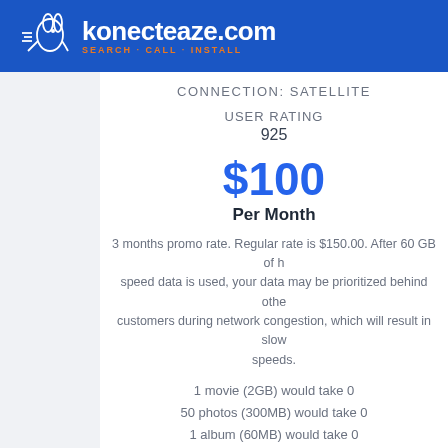konecteaze.com SEARCH · CALL · INSTALL
CONNECTION: SATELLITE
USER RATING
925
$100
Per Month
3 months promo rate. Regular rate is $150.00. After 60 GB of high speed data is used, your data may be prioritized behind other customers during network congestion, which will result in slower speeds.
1 movie (2GB) would take 0
50 photos (300MB) would take 0
1 album (60MB) would take 0
Call 888-387-1591